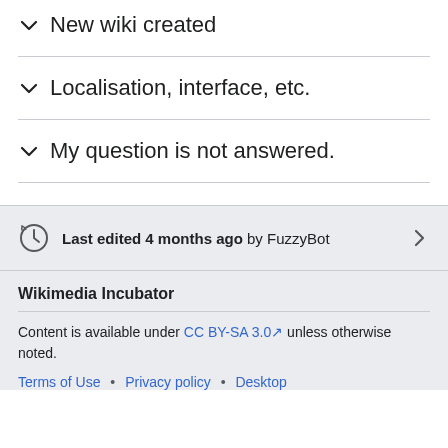∨  New wiki created
∨  Localisation, interface, etc.
∨  My question is not answered.
Last edited 4 months ago by FuzzyBot
Wikimedia Incubator
Content is available under CC BY-SA 3.0 unless otherwise noted.
Terms of Use • Privacy policy • Desktop